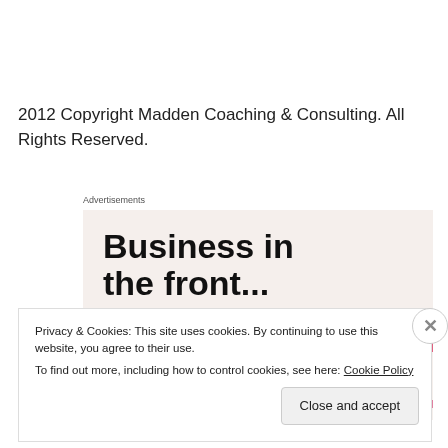2012 Copyright Madden Coaching & Consulting. All Rights Reserved.
[Figure (illustration): Advertisement banner with text 'Business in the front...' on a light pinkish background with a gradient orange-to-pink bar and blue/pink bar at bottom]
Privacy & Cookies: This site uses cookies. By continuing to use this website, you agree to their use. To find out more, including how to control cookies, see here: Cookie Policy
Close and accept